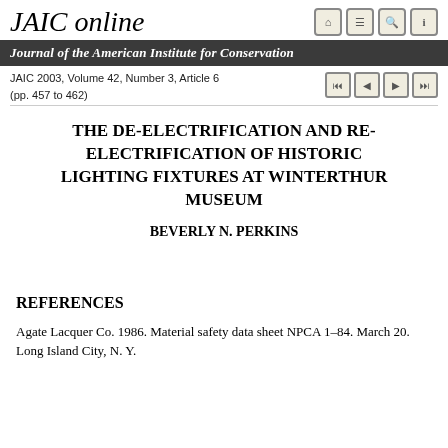JAIC online
Journal of the American Institute for Conservation
JAIC 2003, Volume 42, Number 3, Article 6 (pp. 457 to 462)
THE DE-ELECTRIFICATION AND RE-ELECTRIFICATION OF HISTORIC LIGHTING FIXTURES AT WINTERTHUR MUSEUM
BEVERLY N. PERKINS
REFERENCES
Agate Lacquer Co. 1986. Material safety data sheet NPCA 1–84. March 20. Long Island City, N. Y.